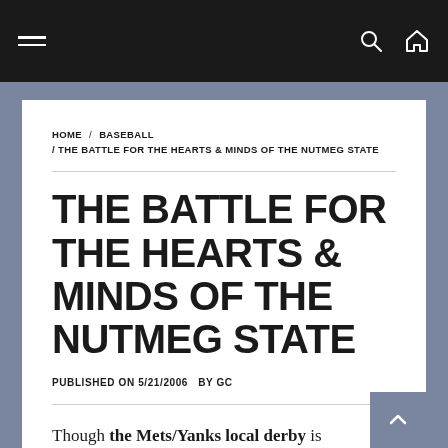Navigation bar with hamburger menu and search/home icons
HOME / BASEBALL / THE BATTLE FOR THE HEARTS & MINDS OF THE NUTMEG STATE
THE BATTLE FOR THE HEARTS & MINDS OF THE NUTMEG STATE
PUBLISHED ON 5/21/2006 BY GC
Though the Mets/Yanks local derby is commanding plenty of attention this evening, the Eastern League's Connecticut Defenders probably took considerable